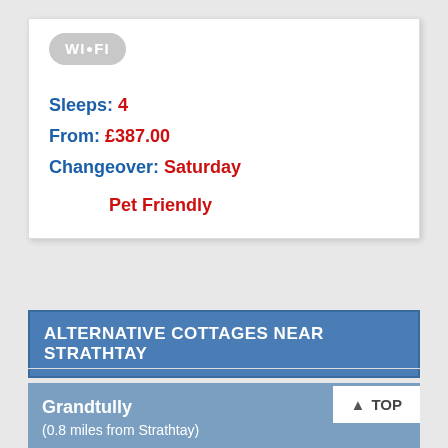[Figure (logo): WiFi badge/icon — grey rounded rectangle with WI-FI text in white]
Sleeps: 4
From: £387.00
Changeover: Saturday
Pet Friendly
ALTERNATIVE COTTAGES NEAR STRATHTAY
Grandtully
(0.8 miles from Strathtay)
TOP